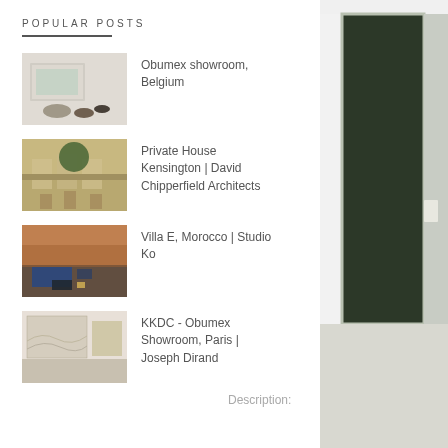POPULAR POSTS
Obumex showroom, Belgium
Private House Kensington | David Chipperfield Architects
Villa E, Morocco | Studio Ko
KKDC - Obumex Showroom, Paris | Joseph Dirand
Description:
[Figure (photo): Interior photo of a dark green door frame set in a white wall, photographed from the side showing depth]